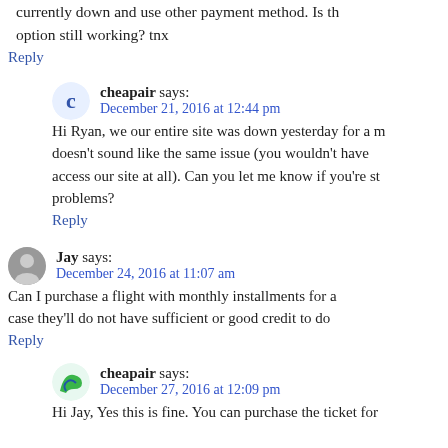currently down and use other payment method. Is this option still working? tnx
Reply
cheapair says:
December 21, 2016 at 12:44 pm
Hi Ryan, we our entire site was down yesterday for a m... doesn't sound like the same issue (you wouldn't have... access our site at all). Can you let me know if you're st... problems?
Reply
Jay says:
December 24, 2016 at 11:07 am
Can I purchase a flight with monthly installments for a... case they'll do not have sufficient or good credit to do...
Reply
cheapair says:
December 27, 2016 at 12:09 pm
Hi Jay, Yes this is fine. You can purchase the ticket for...